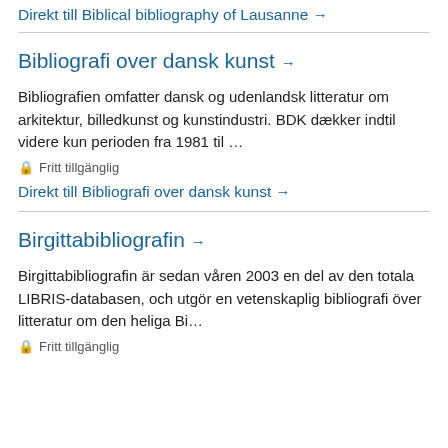Direkt till Biblical bibliography of Lausanne →
Bibliografi over dansk kunst →
Bibliografien omfatter dansk og udenlandsk litteratur om arkitektur, billedkunst og kunstindustri. BDK dækker indtil videre kun perioden fra 1981 til …
🔒 Fritt tillgänglig
Direkt till Bibliografi over dansk kunst →
Birgittabibliografin →
Birgittabibliografin är sedan våren 2003 en del av den totala LIBRIS-databasen, och utgör en vetenskaplig bibliografi över litteratur om den heliga Bi…
🔒 Fritt tillgänglig